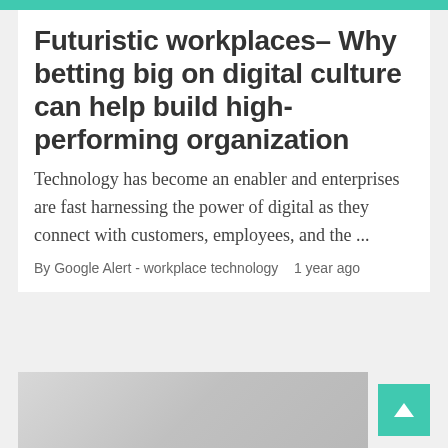Futuristic workplaces– Why betting big on digital culture can help build high-performing organization
Technology has become an enabler and enterprises are fast harnessing the power of digital as they connect with customers, employees, and the ...
By Google Alert - workplace technology   1 year ago
[Figure (photo): Gray-toned image strip at the bottom of the page, partially visible]